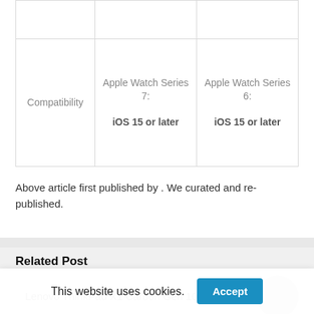|  | Apple Watch Series 7: | Apple Watch Series 6: |
| --- | --- | --- |
|  |  |  |
| Compatibility | Apple Watch Series 7:
iOS 15 or later | Apple Watch Series 6:
iOS 15 or later |
Above article first published by . We curated and re-published.
Related Post
Lenovo ThinkPad X1 Carbon Gen 10 review: all
This website uses cookies.